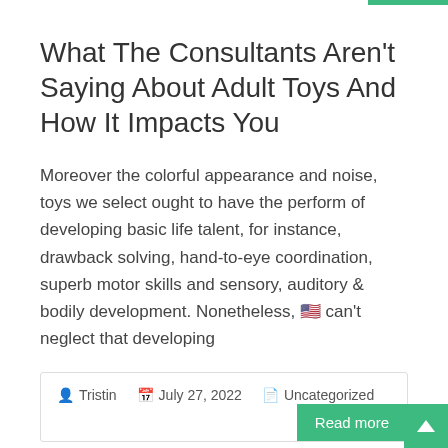What The Consultants Aren't Saying About Adult Toys And How It Impacts You
Moreover the colorful appearance and noise, toys we select ought to have the perform of developing basic life talent, for instance, drawback solving, hand-to-eye coordination, superb motor skills and sensory, auditory & bodily development. Nonetheless, 우리 can't neglect that developing
Tristin   July 27, 2022   Uncategorized